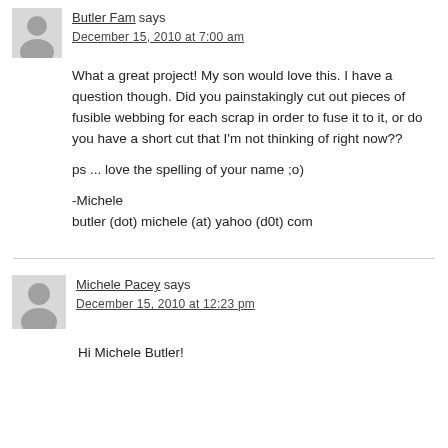[Figure (other): Gray avatar silhouette icon for Butler Fam commenter]
Butler Fam says
December 15, 2010 at 7:00 am
What a great project! My son would love this. I have a question though. Did you painstakingly cut out pieces of fusible webbing for each scrap in order to fuse it to it, or do you have a short cut that I'm not thinking of right now??
ps ... love the spelling of your name ;o)
-Michele
butler (dot) michele (at) yahoo (d0t) com
[Figure (other): Gray avatar silhouette icon for Michele Pacey commenter]
Michele Pacey says
December 15, 2010 at 12:23 pm
Hi Michele Butler!